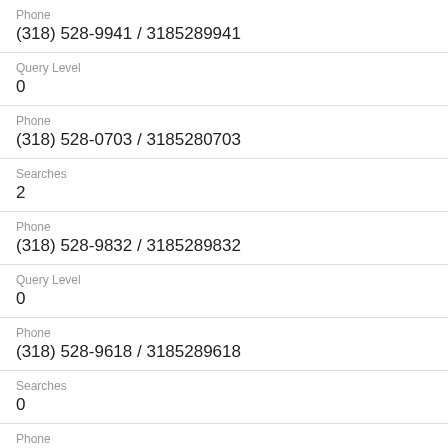Phone
(318) 528-9941 / 3185289941
Query Level
0
Phone
(318) 528-0703 / 3185280703
Searches
2
Phone
(318) 528-9832 / 3185289832
Query Level
0
Phone
(318) 528-9618 / 3185289618
Searches
0
Phone
(318) 528-9656 / 3185289656